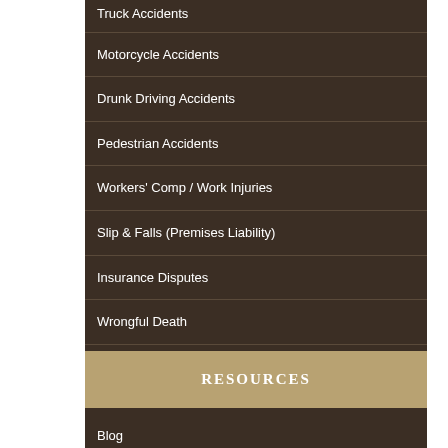Truck Accidents
Motorcycle Accidents
Drunk Driving Accidents
Pedestrian Accidents
Workers' Comp / Work Injuries
Slip & Falls (Premises Liability)
Insurance Disputes
Wrongful Death
RESOURCES
Blog
Contact Us
Firm News